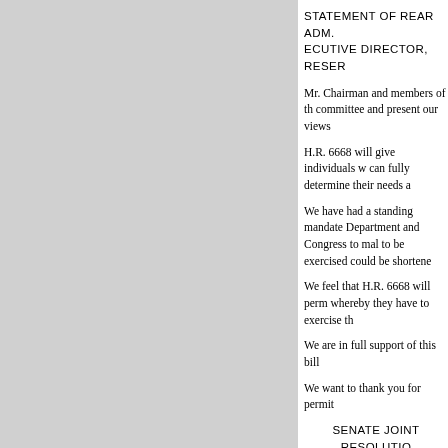STATEMENT OF REAR ADM. ECUTIVE DIRECTOR, RESER
Mr. Chairman and members of th committee and present our views
H.R. 6668 will give individuals w can fully determine their needs a
We have had a standing mandate Department and Congress to mal to be exercised could be shortene
We feel that H.R. 6668 will perm whereby they have to exercise th
We are in full support of this bill
We want to thank you for permit
SENATE JOINT RESOLUTIO
Chairman RUSSELL. Senator Senate Joint Resolution 108. The
As I told you yesterday, we ha and it turns out the report was fr